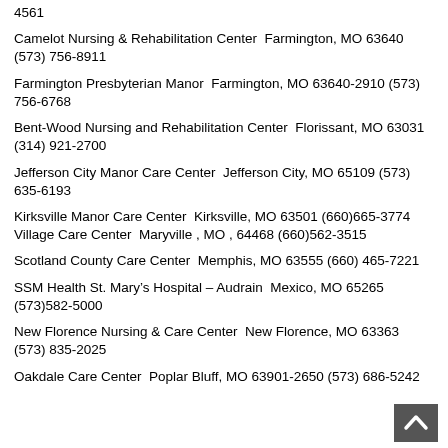4561
Camelot Nursing & Rehabilitation Center  Farmington, MO 63640 (573) 756-8911
Farmington Presbyterian Manor  Farmington, MO 63640-2910 (573) 756-6768
Bent-Wood Nursing and Rehabilitation Center  Florissant, MO 63031 (314) 921-2700
Jefferson City Manor Care Center  Jefferson City, MO 65109 (573) 635-6193
Kirksville Manor Care Center  Kirksville, MO 63501 (660)665-3774
Village Care Center  Maryville , MO , 64468 (660)562-3515
Scotland County Care Center  Memphis, MO 63555 (660) 465-7221
SSM Health St. Mary’s Hospital – Audrain  Mexico, MO 65265 (573)582-5000
New Florence Nursing & Care Center  New Florence, MO 63363 (573) 835-2025
Oakdale Care Center  Poplar Bluff, MO 63901-2650 (573) 686-5242